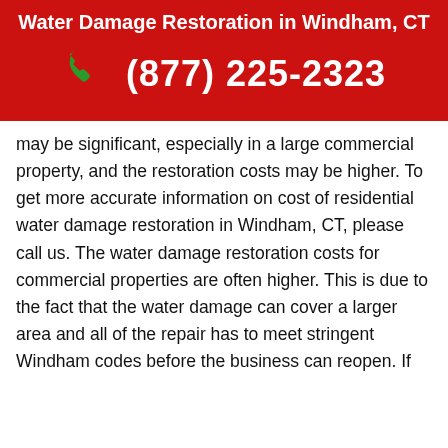Water Damage Restoration in Windham, CT
(877) 225-2323
may be significant, especially in a large commercial property, and the restoration costs may be higher. To get more accurate information on cost of residential water damage restoration in Windham, CT, please call us. The water damage restoration costs for commercial properties are often higher. This is due to the fact that the water damage can cover a larger area and all of the repair has to meet stringent Windham codes before the business can reopen. If you have water damage in your commercial property, we are happy to answer all your questions and help you get the proper restoration done. If you are looking for water damage restoration in Windham, CT, make sure to give us a call. Our water damage pros know all the steps needed to inspect the water, remove it, and get your home or commercial property back to the high standards you expect. When you are ready to handle water damage restoration in Windham, CT, contact